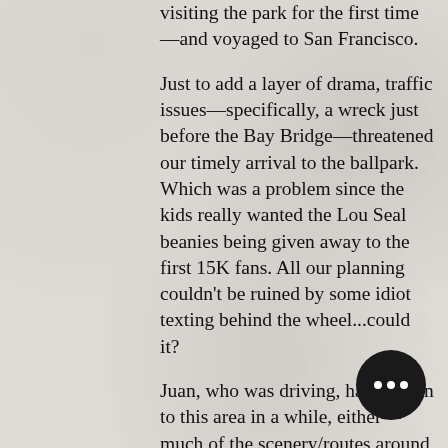visiting the park for the first time—and voyaged to San Francisco.
Just to add a layer of drama, traffic issues—specifically, a wreck just before the Bay Bridge—threatened our timely arrival to the ballpark. Which was a problem since the kids really wanted the Lou Seal beanies being given away to the first 15K fans. All our planning couldn't be ruined by some idiot texting behind the wheel...could it?
Juan, who was driving, hadn't been to this area in a while, either—much of the scenery/routes around Oracle Park was new to both of us. The Willie McCovey statue has been moved. Old reliable Parking Lot A was half its previous size and already seemed full. Luckily, forking over a couple extra bucks got us a "luxury" space close to the exit.
Still, said exit was not close to the pa... After walking for what felt like a mile, breached the gates and YES...we got our bea...